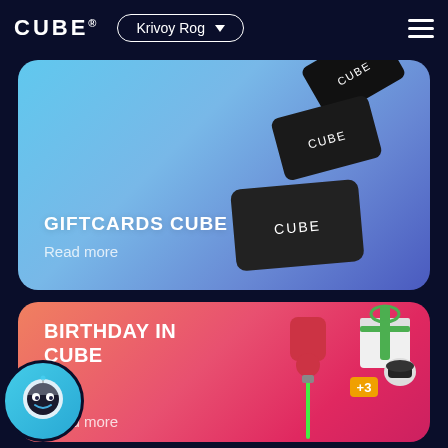CUBE® | Krivoy Rog | Menu
[Figure (screenshot): Promotional card for GIFTCARDS CUBE showing black gift cards with CUBE branding on a blue gradient background, with 'Read more' text]
[Figure (screenshot): Promotional card for BIRTHDAY IN CUBE showing festive characters, VR headset user, gift box, and lightsaber on a pink/red gradient background, with 'Read more' text]
[Figure (illustration): AI robot/bot circular icon in teal/cyan color at bottom left]